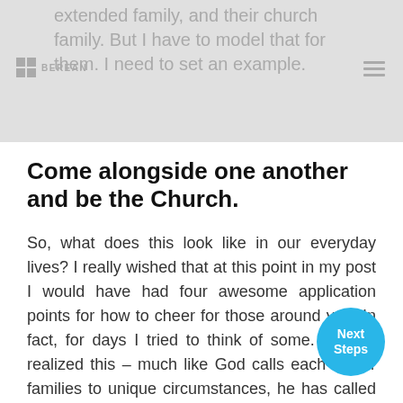extended family, and their church family. But I have to model that for them. I need to set an example.
Come alongside one another and be the Church.
So, what does this look like in our everyday lives? I really wished that at this point in my post I would have had four awesome application points for how to cheer for those around you. In fact, for days I tried to think of some. Then, I realized this – much like God calls each of our families to unique circumstances, he has called you to relationships that look different than mine. The best advice I have is this: Pray w your friends, model this to your kids, and then CELEBRATE